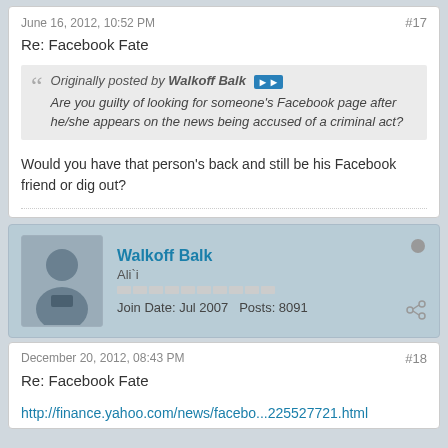June 16, 2012, 10:52 PM
#17
Re: Facebook Fate
Originally posted by Walkoff Balk
Are you guilty of looking for someone's Facebook page after he/she appears on the news being accused of a criminal act?
Would you have that person's back and still be his Facebook friend or dig out?
Walkoff Balk
Ali`i
Join Date: Jul 2007   Posts: 8091
December 20, 2012, 08:43 PM
#18
Re: Facebook Fate
http://finance.yahoo.com/news/facebo...225527721.html